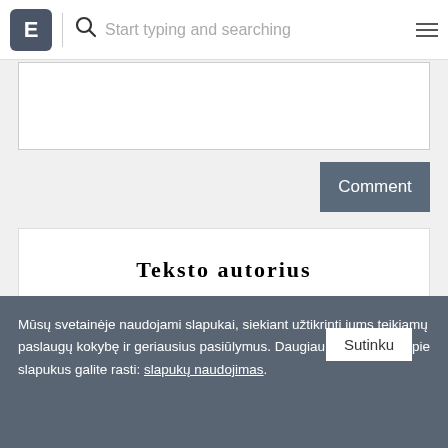E | Start typing and searching
[Figure (screenshot): Comment text area input box]
Comment
Teksto autorius
[Figure (photo): Portrait photo of a woman wearing a grey hat]
Mūsų svetainėje naudojami slapukai, siekiant užtikrinti jums teikiamų paslaugų kokybę ir geriausius pasiūlymus. Daugiau informacijos apie slapukus galite rasti: slapukų naudojimas. Sutinku